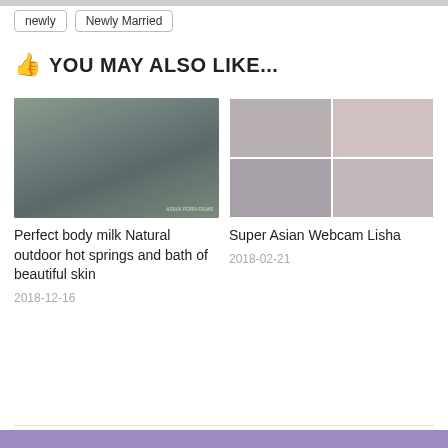newly
Newly Married
YOU MAY ALSO LIKE...
[Figure (photo): Thumbnail photo for article about outdoor hot springs]
Perfect body milk Natural outdoor hot springs and bath of beautiful skin
2018-12-16
[Figure (photo): Four-panel grid thumbnail for webcam video]
Super Asian Webcam Lisha
2018-02-21